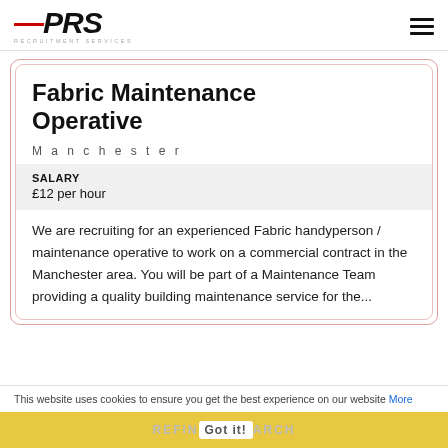[Figure (logo): PRS Recruitment Services logo with red dash accent and italic bold text]
Fabric Maintenance Operative
Manchester
SALARY
£12 per hour
We are recruiting for an experienced Fabric handyperson / maintenance operative to work on a commercial contract in the Manchester area. You will be part of a Maintenance Team providing a quality building maintenance service for the...
This website uses cookies to ensure you get the best experience on our website More
REFINE SEARCH / Got it!